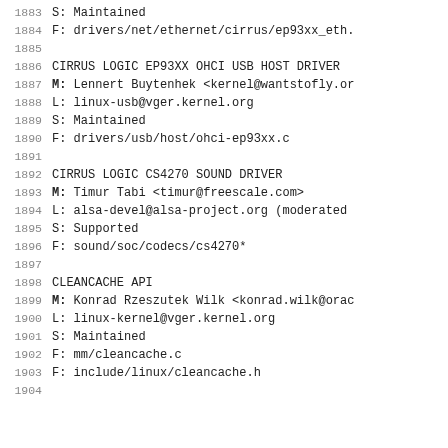1883   S:        Maintained
1884   F:        drivers/net/ethernet/cirrus/ep93xx_eth.
1885
1886   CIRRUS LOGIC EP93XX OHCI USB HOST DRIVER
1887   M:        Lennert Buytenhek <kernel@wantstofly.or
1888   L:        linux-usb@vger.kernel.org
1889   S:        Maintained
1890   F:        drivers/usb/host/ohci-ep93xx.c
1891
1892   CIRRUS LOGIC CS4270 SOUND DRIVER
1893   M:        Timur Tabi <timur@freescale.com>
1894   L:        alsa-devel@alsa-project.org (moderated
1895   S:        Supported
1896   F:        sound/soc/codecs/cs4270*
1897
1898   CLEANCACHE API
1899   M:        Konrad Rzeszutek Wilk <konrad.wilk@orac
1900   L:        linux-kernel@vger.kernel.org
1901   S:        Maintained
1902   F:        mm/cleancache.c
1903   F:        include/linux/cleancache.h
1904